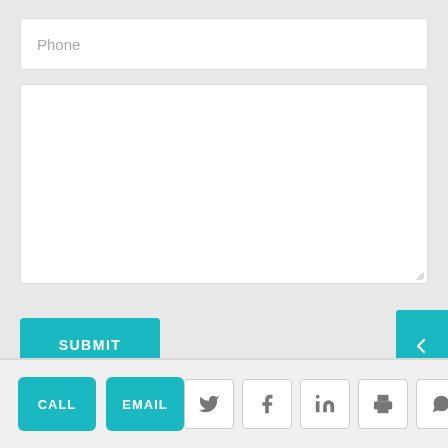[Figure (screenshot): Phone input field with placeholder text 'Phone']
[Figure (screenshot): Large empty textarea for message input with resize handle]
[Figure (screenshot): Teal arrow button on the right edge of the page]
[Figure (screenshot): SUBMIT button in teal]
[Figure (screenshot): Footer bar with CALL and EMAIL buttons, and social/share icons: Twitter, Facebook, LinkedIn, Print, WhatsApp]